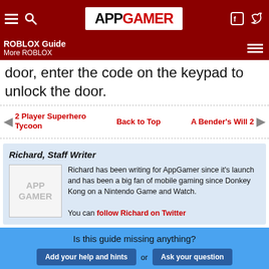APPGAMER
ROBLOX Guide | More ROBLOX
door, enter the code on the keypad to unlock the door.
2 Player Superhero Tycoon | Back to Top | A Bender's Will 2
Richard, Staff Writer
Richard has been writing for AppGamer since it's launch and has been a big fan of mobile gaming since Donkey Kong on a Nintendo Game and Watch. You can follow Richard on Twitter
Is this guide missing anything? Add your help and hints or Ask your question